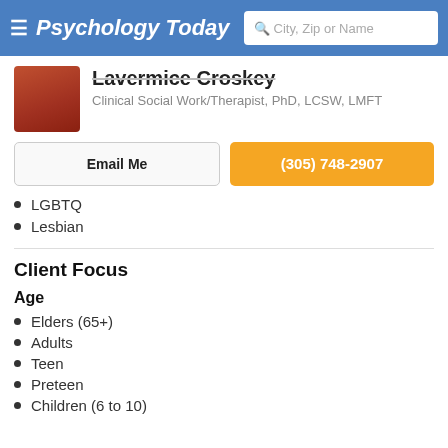Psychology Today — City, Zip or Name search
Lavermice Croskey
Clinical Social Work/Therapist, PhD, LCSW, LMFT
Email Me
(305) 748-2907
LGBTQ
Lesbian
Client Focus
Age
Elders (65+)
Adults
Teen
Preteen
Children (6 to 10)